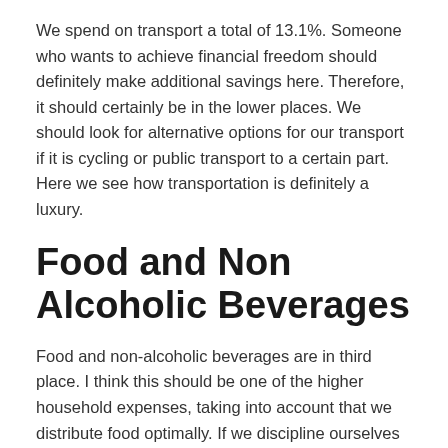We spend on transport a total of 13.1%. Someone who wants to achieve financial freedom should definitely make additional savings here. Therefore, it should certainly be in the lower places. We should look for alternative options for our transport if it is cycling or public transport to a certain part. Here we see how transportation is definitely a luxury.
Food and Non Alcoholic Beverages
Food and non-alcoholic beverages are in third place. I think this should be one of the higher household expenses, taking into account that we distribute food optimally. If we discipline ourselves to shop on a monthly basis and look at discounts in stores, we can save a lot of both time and money.